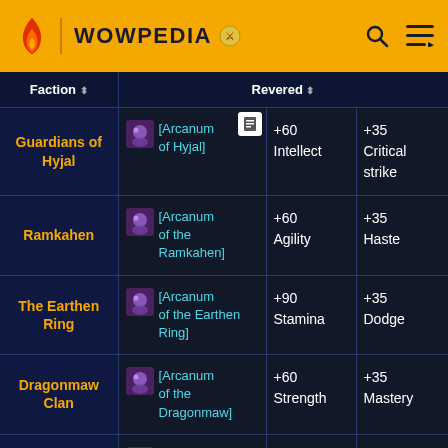WOWPEDIA
| Faction | Revered |  |  |
| --- | --- | --- | --- |
| Guardians of Hyjal | [Arcanum of Hyjal] | +60 Intellect | +35 Critical strike |
| Ramkahen | [Arcanum of the Ramkahen] | +60 Agility | +35 Haste |
| The Earthen Ring | [Arcanum of the Earthen Ring] | +90 Stamina | +35 Dodge |
| Dragonmaw Clan | [Arcanum of the Dragonmaw] | +60 Strength | +35 Mastery |
| Wildhammer Clan | [Arcanum of the ... | +60 Strength | +35 Mastery |